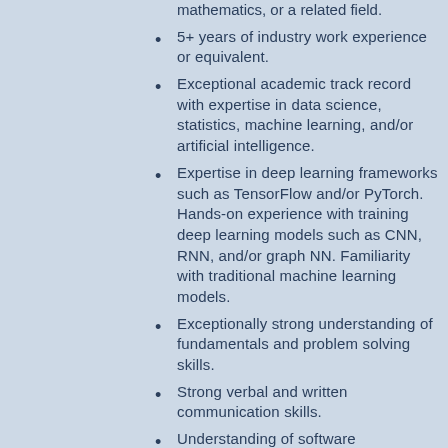mathematics, or a related field.
5+ years of industry work experience or equivalent.
Exceptional academic track record with expertise in data science, statistics, machine learning, and/or artificial intelligence.
Expertise in deep learning frameworks such as TensorFlow and/or PyTorch. Hands-on experience with training deep learning models such as CNN, RNN, and/or graph NN. Familiarity with traditional machine learning models.
Exceptionally strong understanding of fundamentals and problem solving skills.
Strong verbal and written communication skills.
Understanding of software development best practices.